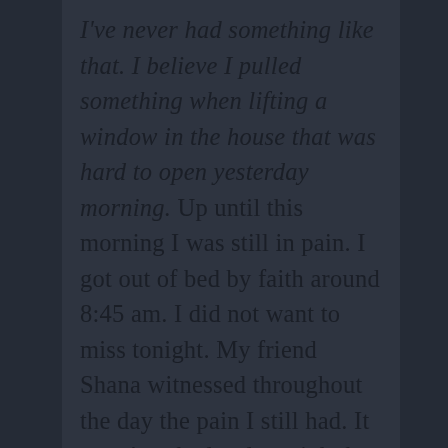I've never had something like that. I believe I pulled something when lifting a window in the house that was hard to open yesterday morning. Up until this morning I was still in pain. I got out of bed by faith around 8:45 am. I did not want to miss tonight. My friend Shana witnessed throughout the day the pain I still had. It wasn't as bad as last night but it was there when reaching or picking something up. I couldn't lift my right arm. Also I couldn't fix my